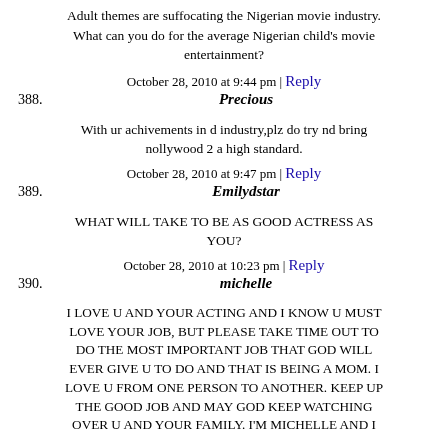Adult themes are suffocating the Nigerian movie industry. What can you do for the average Nigerian child's movie entertainment?
October 28, 2010 at 9:44 pm | Reply
388. Precious
With ur achivements in d industry,plz do try nd bring nollywood 2 a high standard.
October 28, 2010 at 9:47 pm | Reply
389. Emilydstar
WHAT WILL TAKE TO BE AS GOOD ACTRESS AS YOU?
October 28, 2010 at 10:23 pm | Reply
390. michelle
I LOVE U AND YOUR ACTING AND I KNOW U MUST LOVE YOUR JOB, BUT PLEASE TAKE TIME OUT TO DO THE MOST IMPORTANT JOB THAT GOD WILL EVER GIVE U TO DO AND THAT IS BEING A MOM. I LOVE U FROM ONE PERSON TO ANOTHER. KEEP UP THE GOOD JOB AND MAY GOD KEEP WATCHING OVER U AND YOUR FAMILY. I'M MICHELLE AND I